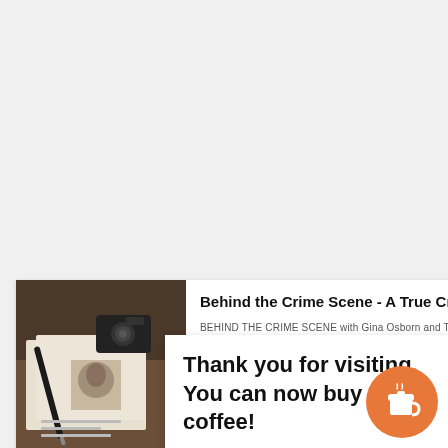[Figure (screenshot): Podcast card showing 'Behind the Crime Scene - A True Crime Podcast' with a thumbnail image of crime scene items (pen, camera, photos) and text describing the show with Gina Osborn and Tracy Miller.]
Thank you for visiting. You can now buy me a coffee!
[Figure (illustration): Orange circular button with a coffee cup icon — a 'Buy Me a Coffee' widget.]
Check out B... ...ecial Ag...
Gina Osborn and Prosecutor Tracy Miller, available wherever you...